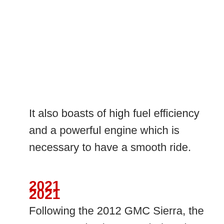It also boasts of high fuel efficiency and a powerful engine which is necessary to have a smooth ride.
2021
Following the 2012 GMC Sierra, the 2021 GMC is also regarded as the most reliable.
It includes a fuel-efficient diesel among its five qualified powertrains.